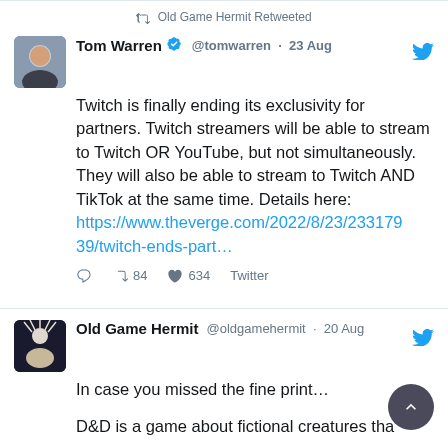Old Game Hermit Retweeted
Tom Warren @tomwarren · 23 Aug
Twitch is finally ending its exclusivity for partners. Twitch streamers will be able to stream to Twitch OR YouTube, but not simultaneously. They will also be able to stream to Twitch AND TikTok at the same time. Details here: https://www.theverge.com/2022/8/23/23317939/twitch-ends-part…
84 retweets 634 likes Twitter
Old Game Hermit @oldgamehermit · 20 Aug
In case you missed the fine print…
D&D is a game about fictional creatures tha